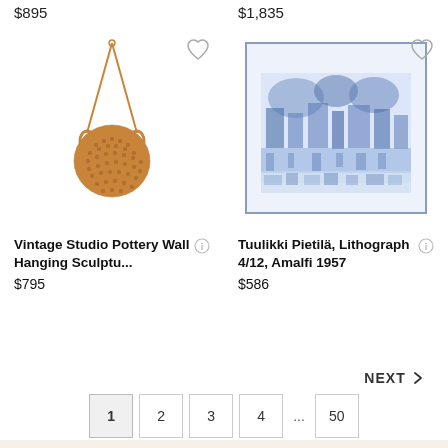$895
$1,835
[Figure (photo): Vintage Studio Pottery Wall Hanging Canteen Sculpture — terracotta ceramic round vessel with two small handles, hung by a cord, with dotted texture pattern, photographed on white background]
[Figure (photo): Tuulikki Pietilä, Lithograph 4/12, Amalfi 1957 — blue and white framed lithograph print showing a detailed architectural/landscape scene]
Vintage Studio Pottery Wall Hanging Canteen Sculptu...
$795
Tuulikki Pietilä, Lithograph 4/12, Amalfi 1957
$586
NEXT >
1
2
3
4
...
50